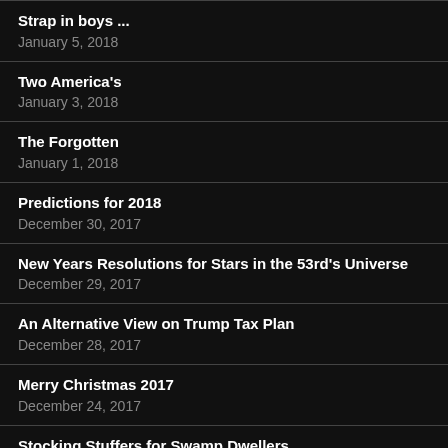Strap in boys ...
January 5, 2018
Two America's
January 3, 2018
The Forgotten
January 1, 2018
Predictions for 2018
December 30, 2017
New Years Resolutions for Stars in the 53rd's Universe
December 29, 2017
An Alternative View on Trump Tax Plan
December 28, 2017
Merry Christmas 2017
December 24, 2017
Stocking Stuffers for Swamp Dwellers
December 23, 2017